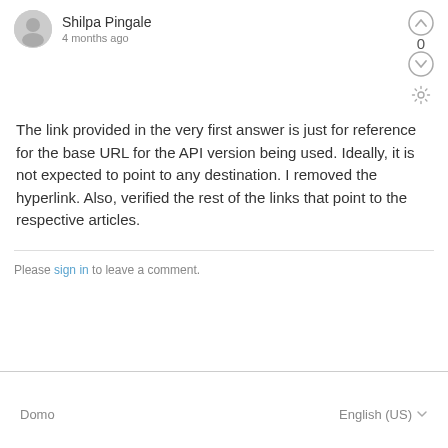Shilpa Pingale
4 months ago
The link provided in the very first answer is just for reference for the base URL for the API version being used. Ideally, it is not expected to point to any destination. I removed the hyperlink. Also, verified the rest of the links that point to the respective articles.
Please sign in to leave a comment.
Domo
English (US)